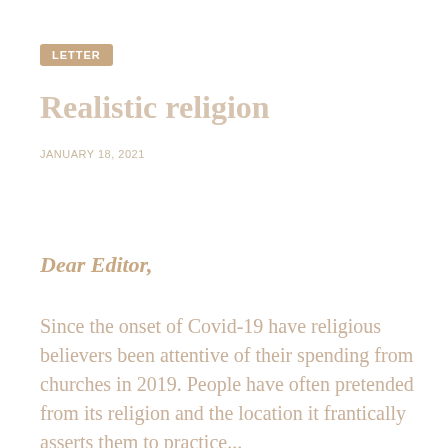LETTER
Realistic religion
JANUARY 18, 2021
Dear Editor,
Since the onset of Covid-19 have religious believers been attentive of their spending from churches in 2019. People have often pretended from its religion and the location it frantically asserts them to practice...